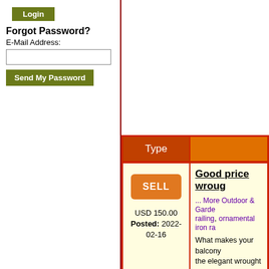[Figure (screenshot): Green login button at top of left sidebar]
Forgot Password?
E-Mail Address:
[Figure (screenshot): Email input text field]
[Figure (screenshot): Send My Password button]
| Type |  |
| --- | --- |
| SELL
USD 150.00
Posted: 2022-02-16 | Good price wroug...
... More Outdoor & Garde... railing, ornamental iron ra...
What makes your balcony... the elegant wrought iron b... balustrade become unique
Location: Ho Chi Minh C... |
| BUY
USD 200.00
Posted: 2022- | Custom decorativ...
... More Outdoor & Garde... deck railing, iron balustrad...
The outdoor wrought iron... safety for your home or b... |